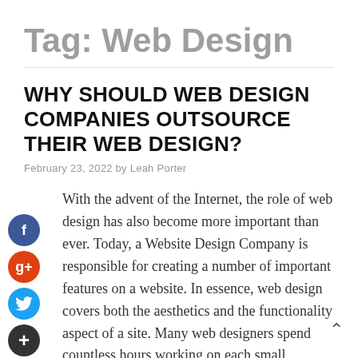Tag: Web Design
WHY SHOULD WEB DESIGN COMPANIES OUTSOURCE THEIR WEB DESIGN?
February 23, 2022 by Leah Porter
With the advent of the Internet, the role of web design has also become more important than ever. Today, a Website Design Company is responsible for creating a number of important features on a website. In essence, web design covers both the aesthetics and the functionality aspect of a site. Many web designers spend countless hours working on each small element of a web site, things like colors, photos, logos, and